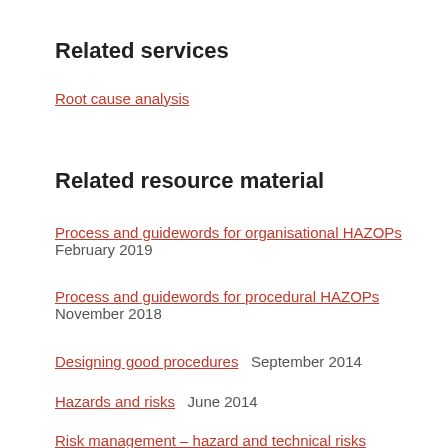Related services
Root cause analysis
Related resource material
Process and guidewords for organisational HAZOPs
February 2019
Process and guidewords for procedural HAZOPs
November 2018
Designing good procedures    September 2014
Hazards and risks    June 2014
Risk management – hazard and technical risks